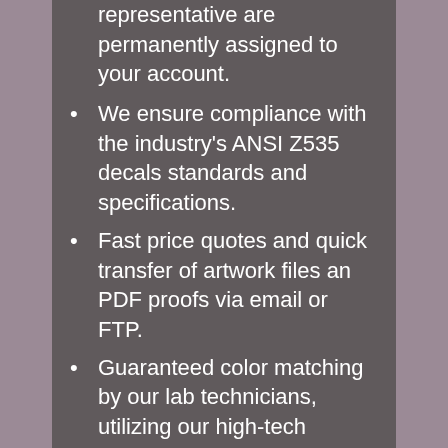representative are permanently assigned to your account.
We ensure compliance with the industry's ANSI Z535 decals standards and specifications.
Fast price quotes and quick transfer of artwork files an PDF proofs via email or FTP.
Guaranteed color matching by our lab technicians, utilizing our high-tech computer color matching system to produce correct and consistent colors the first time and every time.
Annual Usage Programs to